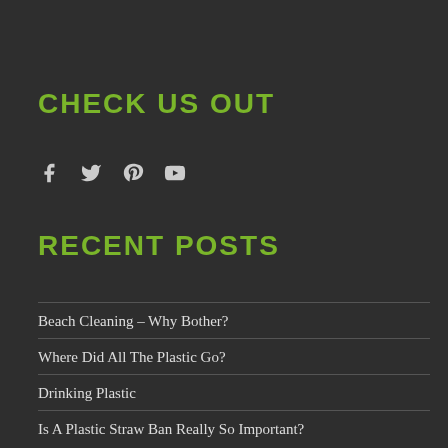CHECK US OUT
[Figure (infographic): Social media icons: Facebook, Twitter, Pinterest, YouTube]
RECENT POSTS
Beach Cleaning – Why Bother?
Where Did All The Plastic Go?
Drinking Plastic
Is A Plastic Straw Ban Really So Important?